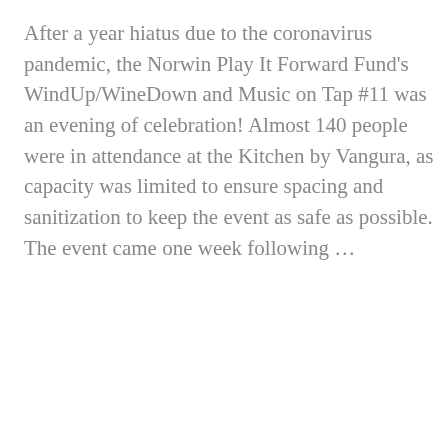After a year hiatus due to the coronavirus pandemic, the Norwin Play It Forward Fund's WindUp/WineDown and Music on Tap #11 was an evening of celebration!  Almost 140 people were in attendance at the Kitchen by Vangura, as capacity was limited to ensure spacing and sanitization to keep the event as safe as possible.   The event came one week following …
READ MORE >
Order Your Tickets for the WindUp/WineDown on November 20th at The...